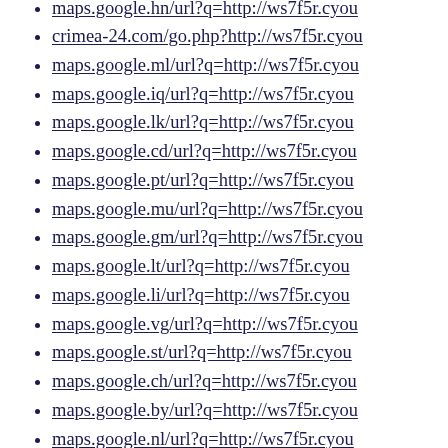maps.google.hn/url?q=http://ws7f5r.cyou (partial, cut off at top)
crimea-24.com/go.php?http://ws7f5r.cyou
maps.google.ml/url?q=http://ws7f5r.cyou
maps.google.iq/url?q=http://ws7f5r.cyou
maps.google.lk/url?q=http://ws7f5r.cyou
maps.google.cd/url?q=http://ws7f5r.cyou
maps.google.pt/url?q=http://ws7f5r.cyou
maps.google.mu/url?q=http://ws7f5r.cyou
maps.google.gm/url?q=http://ws7f5r.cyou
maps.google.lt/url?q=http://ws7f5r.cyou
maps.google.li/url?q=http://ws7f5r.cyou
maps.google.vg/url?q=http://ws7f5r.cyou
maps.google.st/url?q=http://ws7f5r.cyou
maps.google.ch/url?q=http://ws7f5r.cyou
maps.google.by/url?q=http://ws7f5r.cyou
maps.google.nl/url?q=http://ws7f5r.cyou
maps.google.at/url?q=http://ws7f5r.cyou
maps.google.hn/url?q=http://ws7f5r.cyou
maps.google.so/url?q=http://ws7f5r.cyou